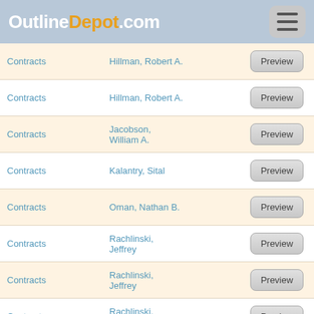OutlineDept.com
Contracts | Hillman, Robert A. | Preview
Contracts | Hillman, Robert A. | Preview
Contracts | Jacobson, William A. | Preview
Contracts | Kalantry, Sital | Preview
Contracts | Oman, Nathan B. | Preview
Contracts | Rachlinski, Jeffrey | Preview
Contracts | Rachlinski, Jeffrey | Preview
Contracts | Rachlinski, Jeffrey | Preview
Contracts | Summers, Robert S. | Preview